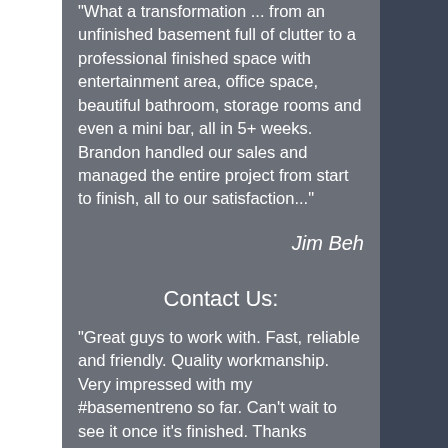"What a transformation ... from an unfinished basement full of clutter to a professional finished space with entertainment area, office space, beautiful bathroom, storage rooms and even a mini bar, all in 5+ weeks. Brandon handled our sales and managed the entire project from start to finish, all to our satisfaction..."
Jim Beh
Contact Us:
"Great guys to work with. Fast, reliable and friendly. Quality workmanship. Very impressed with my #basementreno so far. Can't wait to see it once it's finished. Thanks Brandon and crew!! The Basement Store has completed the renovation of our basement now and we are extremely happy with the outcome."